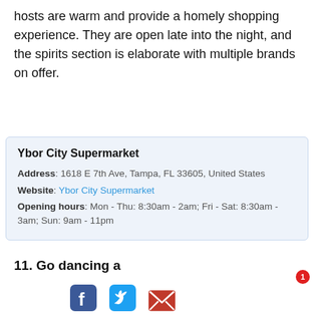hosts are warm and provide a homely shopping experience. They are open late into the night, and the spirits section is elaborate with multiple brands on offer.
| Ybor City Supermarket |
| Address: 1618 E 7th Ave, Tampa, FL 33605, United States |
| Website: Ybor City Supermarket |
| Opening hours: Mon - Thu: 8:30am - 2am; Fri - Sat: 8:30am - 3am; Sun: 9am - 11pm |
11. Go dancing a
[Figure (other): Red CTA button labeled 'Explore Ybor City', blue chat button labeled 'Can I help?' with red badge showing '1', and social media icons (Facebook, Twitter, email) at the bottom.]